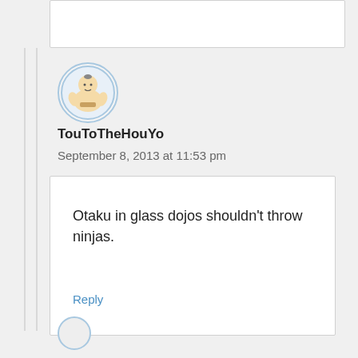[Figure (illustration): Avatar of TouToTheHouYo — a circular illustration of a muscular sumo wrestler on a light blue circular border]
TouToTheHouYo
September 8, 2013 at 11:53 pm
Otaku in glass dojos shouldn't throw ninjas.
Reply